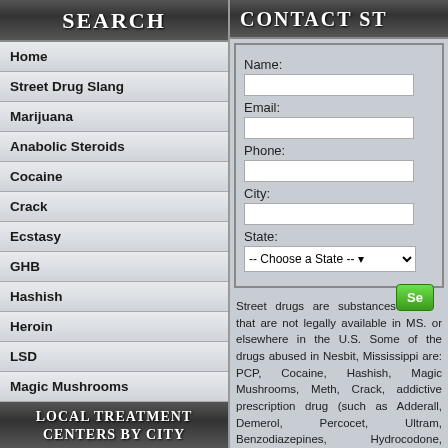Search
Home
Street Drug Slang
Marijuana
Anabolic Steroids
Cocaine
Crack
Ecstasy
GHB
Hashish
Heroin
LSD
Magic Mushrooms
Methamphetamine
Opium
PCP
Local Treatment
Centers by City
Contact St
Name:
Email:
Phone:
City:
State:
Street drugs are substances that are not legally available in MS. or elsewhere in the U.S. Some of the drugs abused in Nesbit, Mississippi are: PCP, Cocaine, Hashish, Magic Mushrooms, Meth, Crack, addictive prescription drug (such as Adderall, Demerol, Percocet, Ultram, Benzodiazepines, Hydrocodone, Morphine